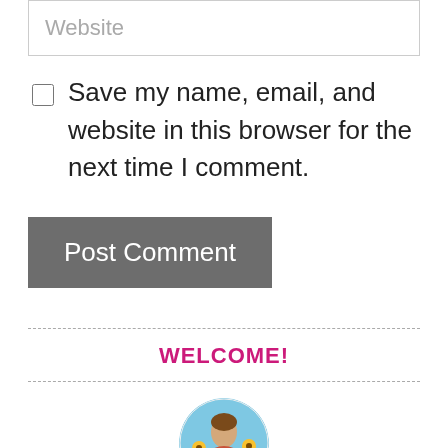Website
Save my name, email, and website in this browser for the next time I comment.
Post Comment
WELCOME!
[Figure (photo): Circular avatar photo of a person outdoors with sunflowers/nature background]